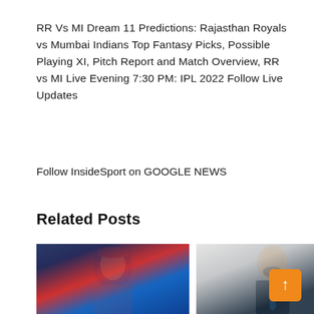RR Vs MI Dream 11 Predictions: Rajasthan Royals vs Mumbai Indians Top Fantasy Picks, Possible Playing XI, Pitch Report and Match Overview, RR vs MI Live Evening 7:30 PM: IPL 2022 Follow Live Updates
Follow InsideSport on GOOGLE NEWS
Related Posts
[Figure (photo): Cricket player in blue and red jersey]
[Figure (photo): Man in dark suit with beard]